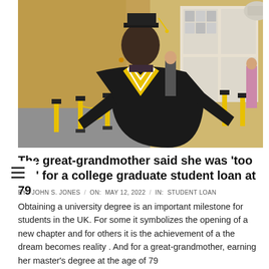[Figure (photo): An elderly woman wearing a black graduation gown with yellow/gold trim and a black mortarboard cap, standing at what appears to be a university graduation ceremony. Yellow and black bollards are visible in the background along with display boards and other attendees.]
The great-grandmother said she was 'too old' for a college graduate student loan at 79
BY: JOHN S. JONES / ON: MAY 12, 2022 / IN: STUDENT LOAN
Obtaining a university degree is an important milestone for students in the UK. For some it symbolizes the opening of a new chapter and for others it is the achievement of a the dream becomes reality . And for a great-grandmother, earning her master's degree at the age of 79